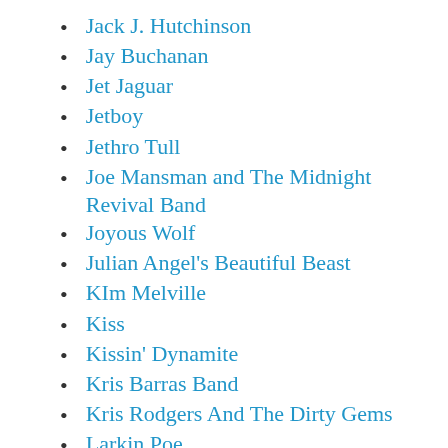Jack J. Hutchinson
Jay Buchanan
Jet Jaguar
Jetboy
Jethro Tull
Joe Mansman and The Midnight Revival Band
Joyous Wolf
Julian Angel's Beautiful Beast
KIm Melville
Kiss
Kissin' Dynamite
Kris Barras Band
Kris Rodgers And The Dirty Gems
Larkin Poe
Lemon Twigs